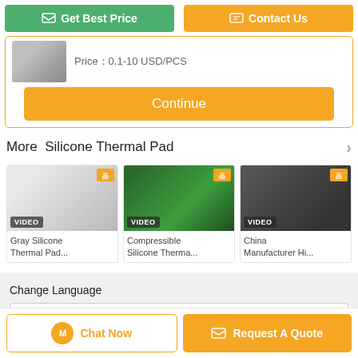[Figure (screenshot): Get Best Price and Contact Us buttons at top]
Price：0.1-10 USD/PCS
[Figure (screenshot): Continue orange button]
More  Silicone Thermal Pad
[Figure (photo): Gray Silicone Thermal Pad product card with VIDEO badge]
Gray Silicone Thermal Pad...
[Figure (photo): Compressible Silicone Therma... product card with VIDEO badge]
Compressible Silicone Therma...
[Figure (photo): China Manufacturer Hi... product card with VIDEO badge]
China Manufacturer Hi...
Change Language
english
[Figure (screenshot): Chat Now and Request A Quote buttons at bottom]